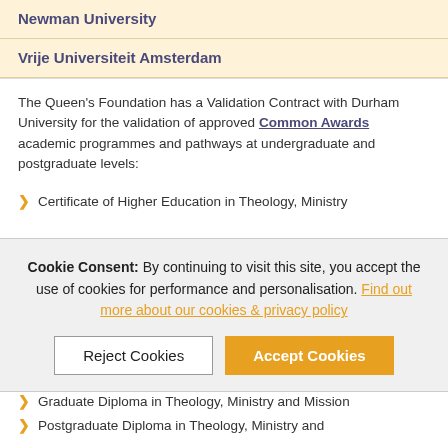Newman University
Vrije Universiteit Amsterdam
The Queen's Foundation has a Validation Contract with Durham University for the validation of approved Common Awards academic programmes and pathways at undergraduate and postgraduate levels:
Certificate of Higher Education in Theology, Ministry
Cookie Consent: By continuing to visit this site, you accept the use of cookies for performance and personalisation. Find out more about our cookies & privacy policy
Graduate Diploma in Theology, Ministry and Mission
Postgraduate Diploma in Theology, Ministry and